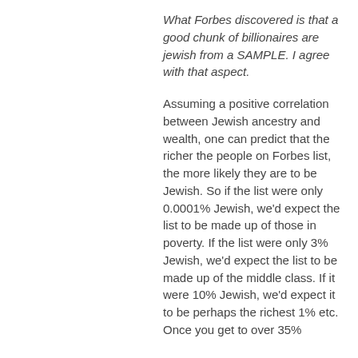What Forbes discovered is that a good chunk of billionaires are jewish from a SAMPLE. I agree with that aspect.
Assuming a positive correlation between Jewish ancestry and wealth, one can predict that the richer the people on Forbes list, the more likely they are to be Jewish. So if the list were only 0.0001% Jewish, we'd expect the list to be made up of those in poverty. If the list were only 3% Jewish, we'd expect the list to be made up of the middle class. If it were 10% Jewish, we'd expect it to be perhaps the richest 1% etc. Once you get to over 35%